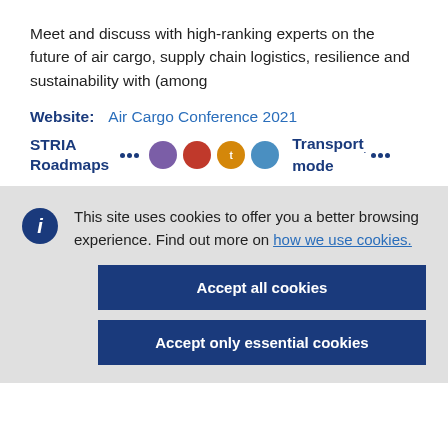Meet and discuss with high-ranking experts on the future of air cargo, supply chain logistics, resilience and sustainability with (among
Website:   Air Cargo Conference 2021
STRIA Roadmaps [dots and colored circles] Transport mode
This site uses cookies to offer you a better browsing experience. Find out more on how we use cookies.
Accept all cookies
Accept only essential cookies